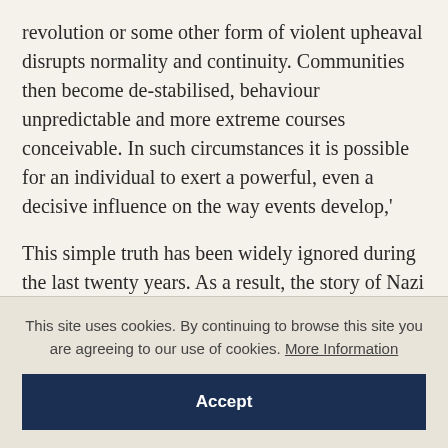revolution or some other form of violent upheaval disrupts normality and continuity. Communities then become de-stabilised, behaviour unpredictable and more extreme courses conceivable. In such circumstances it is possible for an individual to exert a powerful, even a decisive influence on the way events develop,'
This simple truth has been widely ignored during the last twenty years. As a result, the story of Nazi (and Soviet) studies during this period – always
This site uses cookies. By continuing to browse this site you are agreeing to our use of cookies. More Information
Accept